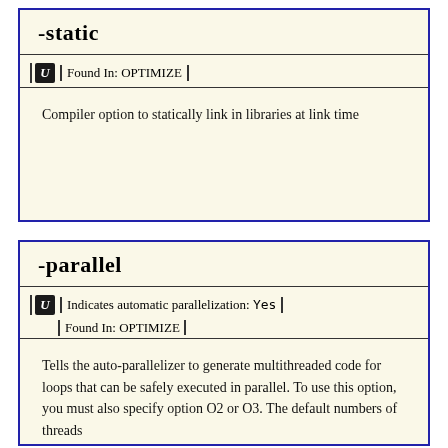-static
Found In: OPTIMIZE
Compiler option to statically link in libraries at link time
-parallel
Indicates automatic parallelization: Yes
Found In: OPTIMIZE
Tells the auto-parallelizer to generate multithreaded code for loops that can be safely executed in parallel. To use this option, you must also specify option O2 or O3. The default numbers of threads